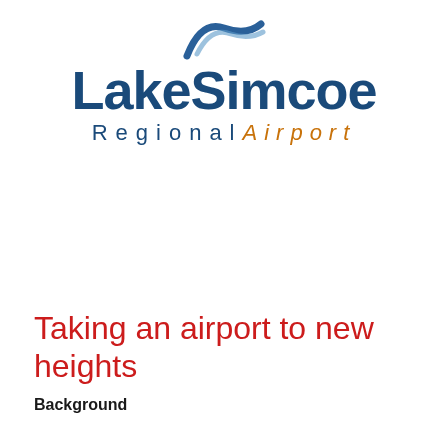[Figure (logo): Lake Simcoe Regional Airport logo with blue arc/wave icon above the text 'LakeSimcoe' in bold dark blue and 'Regional Airport' below in spaced dark blue and orange italic lettering]
Taking an airport to new heights
Background